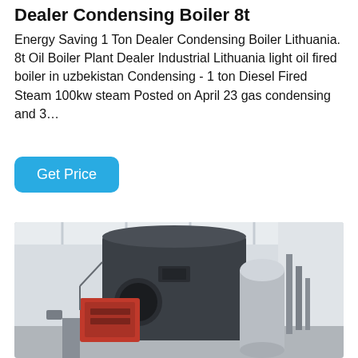Dealer Condensing Boiler 8t
Energy Saving 1 Ton Dealer Condensing Boiler Lithuania. 8t Oil Boiler Plant Dealer Industrial Lithuania light oil fired boiler in uzbekistan Condensing - 1 ton Diesel Fired Steam 100kw steam Posted on April 23 gas condensing and 3…
[Figure (photo): Industrial condensing boiler unit installed in a facility — large dark grey cylindrical boiler body with red burner at front, silver cylindrical component to the right, metal piping, white ceiling with structural beams, photographed from low angle.]